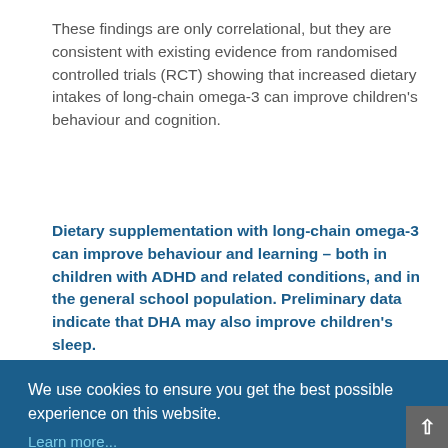These findings are only correlational, but they are consistent with existing evidence from randomised controlled trials (RCT) showing that increased dietary intakes of long-chain omega-3 can improve children's behaviour and cognition.
Dietary supplementation with long-chain omega-3 can improve behaviour and learning – both in children with ADHD and related conditions, and in the general school population. Preliminary data indicate that DHA may also improve children's sleep.
We use cookies to ensure you get the best possible experience on this website. Learn more...
Accept
...d behaviour (ADHD symptoms, including inattention, hyperactivity and impulsivity) and learning (reading and spelling progress) in children with DCD following 3 months of dietary supplementation with omega-3 LC-PUFAs vs placebo.[4] Benefits of omega-3 for ADHD symptoms in children with ADHD or related behaviour and